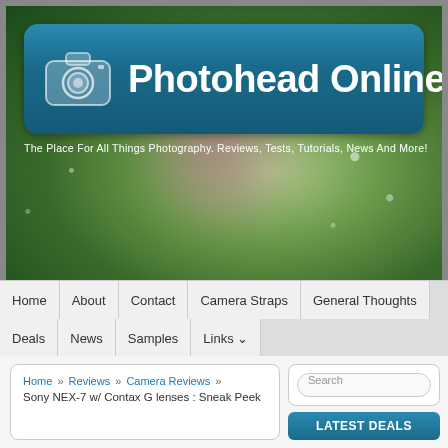[Figure (screenshot): Photohead Online website header with camera logo on blue banner, green bokeh/macro leaf background with water droplets]
Photohead Online
The Place For All Things Photography. Reviews, Tests, Tutorials, News And More!
Home | About | Contact | Camera Straps | General Thoughts | Deals | News | Samples | Links
Home » Reviews » Camera Reviews » Sony NEX-7 w/ Contax G lenses : Sneak Peek
Search
LATEST DEALS